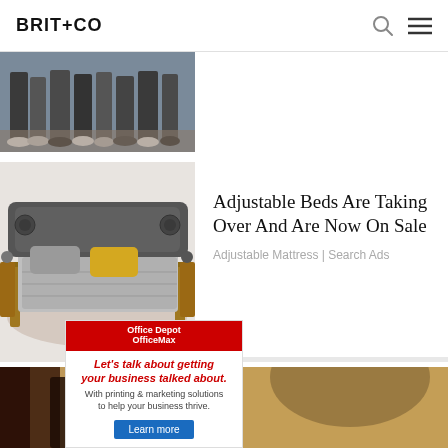BRIT+CO
[Figure (photo): Cropped photo showing legs and feet of a group of people standing on a cobblestone surface]
[Figure (photo): Modern adjustable bed with dark grey upholstery, wooden side tables, and a yellow pillow]
Adjustable Beds Are Taking Over And Are Now On Sale
Adjustable Mattress | Search Ads
[Figure (photo): Background photo with warm sandy textured wall and dark wooden furniture]
[Figure (infographic): Office Depot OfficeMax advertisement: Let's talk about getting your business talked about. With printing & marketing solutions to help your business thrive. Learn more button.]